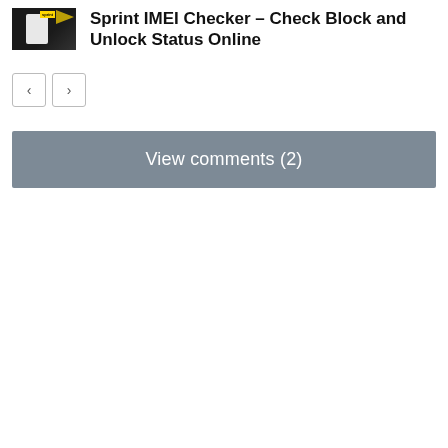[Figure (photo): Thumbnail image of a phone on a dark surface with Sprint logo and text]
Sprint IMEI Checker – Check Block and Unlock Status Online
[Figure (other): Navigation buttons: left arrow and right arrow]
View comments (2)